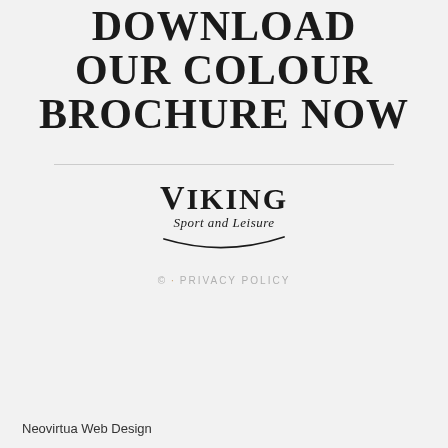DOWNLOAD OUR COLOUR BROCHURE NOW
[Figure (logo): Viking Sport and Leisure logo with swoosh underline]
© · PRIVACY POLICY
Neovirtua Web Design